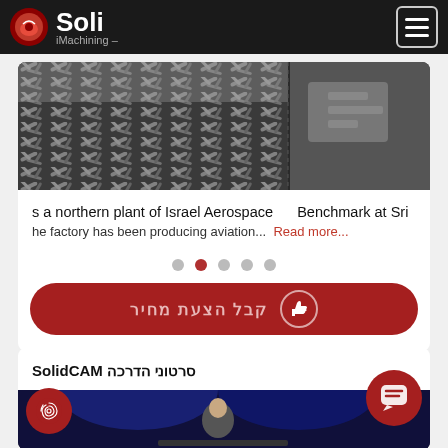Soli iMachining
[Figure (screenshot): Header with Soli iMachining logo on dark background and hamburger menu icon]
[Figure (photo): Metal machining chips/shavings in a bin, industrial manufacturing scene]
s a northern plant of Israel Aerospace    Benchmark at Sri
he factory has been producing aviation...  Read more...
[Figure (other): Carousel navigation dots, second dot active (red)]
קבל הצעת מחיר
סרטוני הדרכה SolidCAM
[Figure (screenshot): Video thumbnail showing a person presenting, dark blue background]